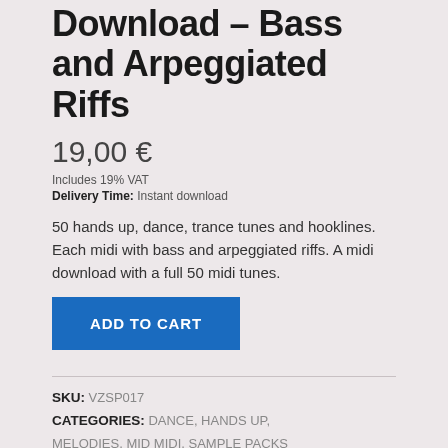Download – Bass and Arpeggiated Riffs
19,00 €
Includes 19% VAT
Delivery Time: Instant download
50 hands up, dance, trance tunes and hooklines. Each midi with bass and arpeggiated riffs. A midi download with a full 50 midi tunes.
ADD TO CART
SKU: VZSP017
CATEGORIES: DANCE, HANDS UP, MELODIES, MID MIDI, SAMPLE PACKS
TAGS: BASSLINES, LEADS